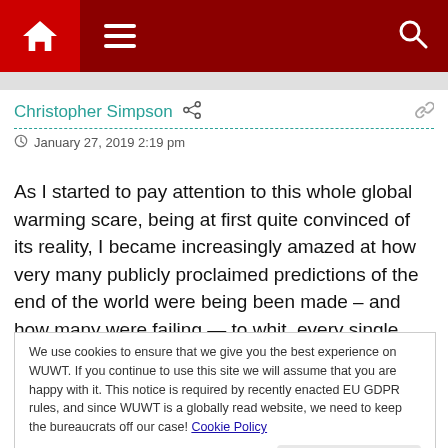[Figure (screenshot): Website navigation bar with home icon, hamburger menu, and search icon on dark red background]
Christopher Simpson
January 27, 2019 2:19 pm
As I started to pay attention to this whole global warming scare, being at first quite convinced of its reality, I became increasingly amazed at how very many publicly proclaimed predictions of the end of the world were being been made – and how many were failing — to whit, every single one of
We use cookies to ensure that we give you the best experience on WUWT. If you continue to use this site we will assume that you are happy with it. This notice is required by recently enacted EU GDPR rules, and since WUWT is a globally read website, we need to keep the bureaucrats off our case! Cookie Policy
because – well, SCIENTISTS!). And of course, there was the